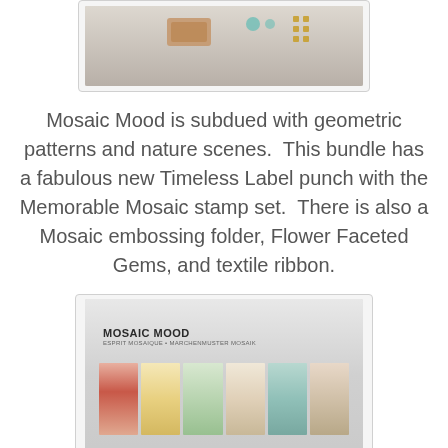[Figure (photo): Partial photo of crafting supplies including ribbon and embellishments on a white surface, cropped at top of page]
Mosaic Mood is subdued with geometric patterns and nature scenes.  This bundle has a fabulous new Timeless Label punch with the Memorable Mosaic stamp set.  There is also a Mosaic embossing folder, Flower Faceted Gems, and textile ribbon.
[Figure (photo): Photo of the Mosaic Mood product line display showing decorative paper strips with floral and geometric patterns in pink, yellow, teal and cream colors, with labels reading MOSAIC MOOD / ESPRIT MOSAIQUE • MARCHENMUSTER MOSAIK, and crafting supplies including a stamp set and red embossing folder below the papers]